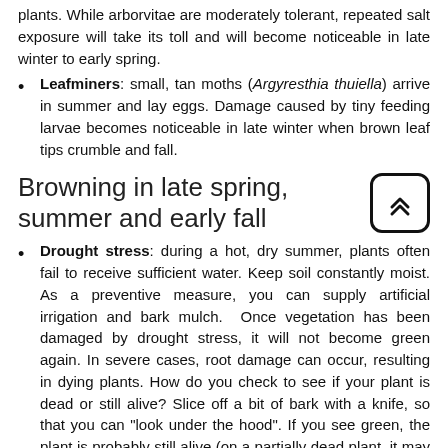plants. While arborvitae are moderately tolerant, repeated salt exposure will take its toll and will become noticeable in late winter to early spring.
Leafminers: small, tan moths (Argyresthia thuiella) arrive in summer and lay eggs. Damage caused by tiny feeding larvae becomes noticeable in late winter when brown leaf tips crumble and fall.
Browning in late spring, summer and early fall
Drought stress: during a hot, dry summer, plants often fail to receive sufficient water. Keep soil constantly moist. As a preventive measure, you can supply artificial irrigation and bark mulch. Once vegetation has been damaged by drought stress, it will not become green again. In severe cases, root damage can occur, resulting in dying plants. How do you check to see if your plant is dead or still alive? Slice off a bit of bark with a knife, so that you can "look under the hood". If you see green, the plant is probably still alive (on a partially dead plant, it may take you a few tries before you find green